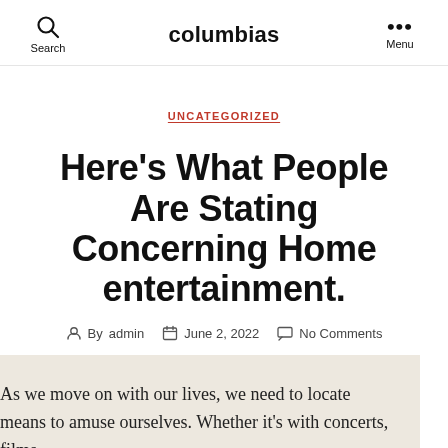columbias
UNCATEGORIZED
Here’s What People Are Stating Concerning Home entertainment.
By admin  June 2, 2022  No Comments
As we move on with our lives, we need to locate means to amuse ourselves. Whether it’s with concerts, films,